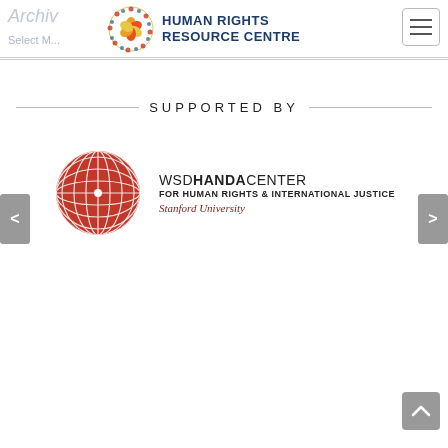Archives — Human Rights Resource Centre
[Figure (logo): Human Rights Resource Centre logo with decorative circular emblem and text 'HUMAN RIGHTS RESOURCE CENTRE']
SUPPORTED BY
[Figure (logo): WSD Handa Center for Human Rights & International Justice — Stanford University logo with red globe graphic]